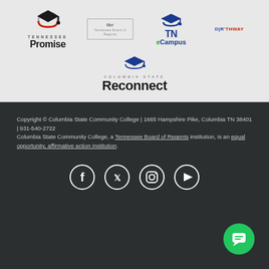[Figure (logo): Tennessee Promise logo with graduation cap icon, text 'TENNESSEE' in small caps and 'Promise' in bold]
[Figure (logo): TBR Tennessee Board of Regents small logo]
[Figure (logo): TN eCampus logo with graduation cap and blue/green text]
[Figure (logo): D|R'THWAY Pathway logo]
[Figure (logo): Columbia State Reconnect logo with graduation cap icon]
Copyright © Columbia State Community College | 1665 Hampshire Pike, Columbia TN 38401 | 931-540-2722
Columbia State Community College, a Tennessee Board of Regents institution, is an equal opportunity, affirmative action institution.
[Figure (infographic): Social media icons: Facebook, Twitter, Instagram, YouTube — white circles on dark background]